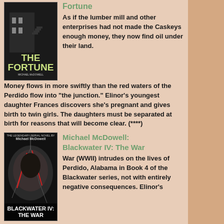[Figure (illustration): Book cover of 'The Fortune' by Michael McDowell - dark cover with green title text]
Fortune
As if the lumber mill and other enterprises had not made the Caskeys enough money, they now find oil under their land. Money flows in more swiftly than the red waters of the Perdido flow into "the junction." Elinor's youngest daughter Frances discovers she's pregnant and gives birth to twin girls. The daughters must be separated at birth for reasons that will become clear. (****)
[Figure (illustration): Book cover of 'Blackwater IV: The War' by Michael McDowell - dark cover with cracked texture and red elements]
Michael McDowell: Blackwater IV: The War
War (WWII) intrudes on the lives of Perdido, Alabama in Book 4 of the Blackwater series, not with entirely negative consequences. Elinor's youngest daughter Frances shows that she is brave, the best daughter. (***)